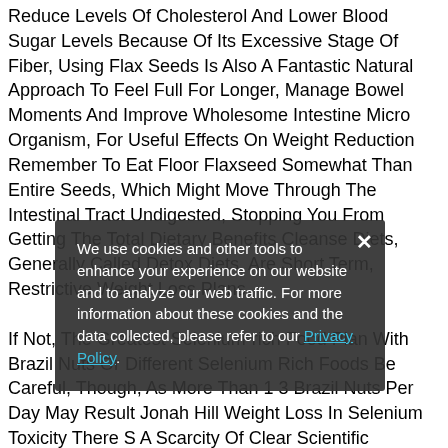Reduce Levels Of Cholesterol And Lower Blood Sugar Levels Because Of Its Excessive Stage Of Fiber, Using Flax Seeds Is Also A Fantastic Natural Approach To Feel Full For Longer, Manage Bowel Moments And Improve Wholesome Intestine Micro Organism, For Useful Effects On Weight Reduction Remember To Eat Floor Flaxseed Somewhat Than Entire Seeds, Which Might Move Through The Intestinal Tract Undigested, Stopping You From Getting The Total Dietary Benefits Cleanse Diets, Generally Called Detox Diets, Are Short Term, Restrictive Weight Loss Plans. If Not, The Greatest Selenium-rich Food Plan With Brazil Nuts Or Different Selenium Rich Foods Be Careful, Though, As More Than 1 3 Brazil Nuts Per Day May Result Jonah Hill Weight Loss In Selenium Toxicity There S A Scarcity Of Clear Scientific Evidence About Precisely What Level Of Protein Intake Is Most Useful On A
We use cookies and other tools to enhance your experience on our website and to analyze our web traffic. For more information about these cookies and the data collected, please refer to our Privacy Policy.